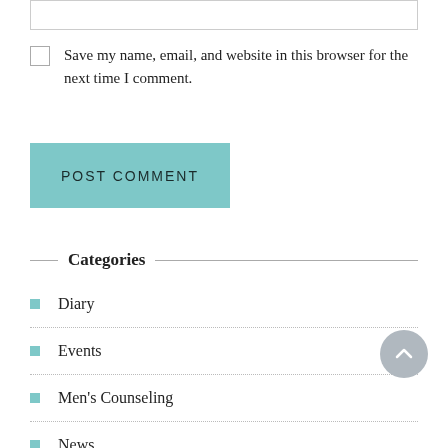[input box]
Save my name, email, and website in this browser for the next time I comment.
POST COMMENT
Categories
Diary
Events
Men's Counseling
News